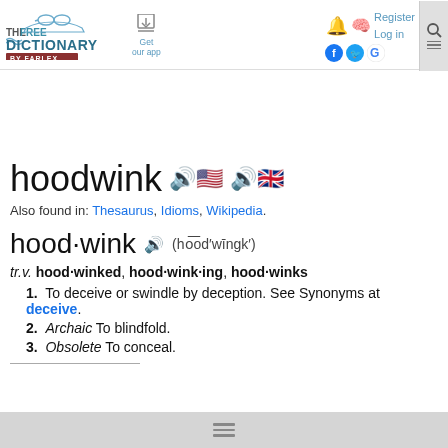THE FREE DICTIONARY BY FARLEX | Get our app | Register | Log in
hoodwink
Also found in: Thesaurus, Idioms, Wikipedia.
hood·wink (ho͞od′wīngk′)
tr.v. hood·winked, hood·wink·ing, hood·winks
1. To deceive or swindle by deception. See Synonyms at deceive.
2. Archaic To blindfold.
3. Obsolete To conceal.